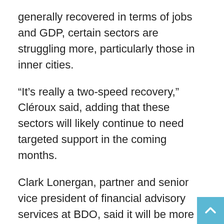generally recovered in terms of jobs and GDP, certain sectors are struggling more, particularly those in inner cities.
“It’s really a two-speed recovery,” Cléroux said, adding that these sectors will likely continue to need targeted support in the coming months.
Clark Lonergan, partner and senior vice president of financial advisory services at BDO, said it will be more than a couple of months with no restrictions before many companies can pay down debt and return to profitability. Whether there is a significant spike in closures or bankruptcies will depend largely on how quickly government support dries up, he said.
Lonergan said the next form of government support, in whatever form, should be more selective, focusing on specific sectors, but also taking into account how companies were